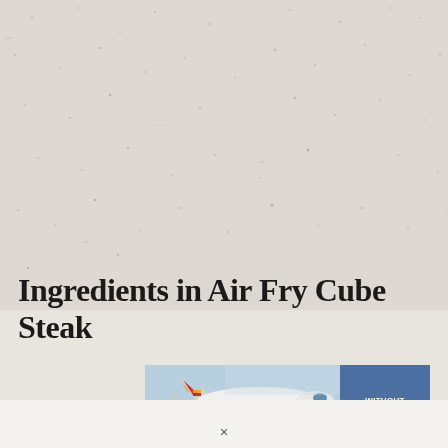Ingredients in Air Fry Cube Steak
[Figure (photo): Advertisement banner showing an airplane being loaded with cargo at an airport, with text overlay reading 'WITHOUT REGARD TO POLITICS, RELIGION, OR ABILITY TO PAY']
×